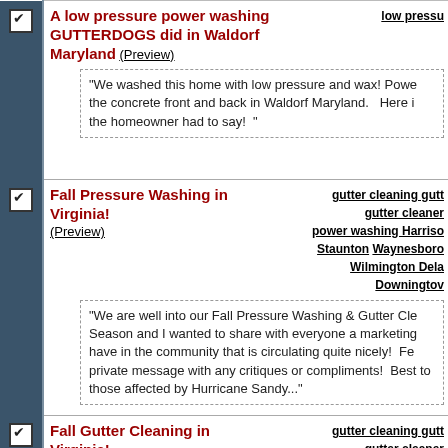A low pressure power washing GUTTERDOGS did in Waldorf Maryland (Preview)
"We washed this home with low pressure and wax! Powe the concrete front and back in Waldorf Maryland.   Here i the homeowner had to say!  "
Fall Pressure Washing in Virginia! (Preview)
gutter cleaning gutt gutter cleaner power washing Harriso Staunton Waynesboro Wilmington Dela Downingtov
"We are well into our Fall Pressure Washing & Gutter Cle Season and I wanted to share with everyone a marketing have in the community that is circulating quite nicely!  Fe private message with any critiques or compliments!  Best to those affected by Hurricane Sandy..."
Fall Gutter Cleaning in Virginia! (Preview)
gutter cleaning gutt gutter cleaner